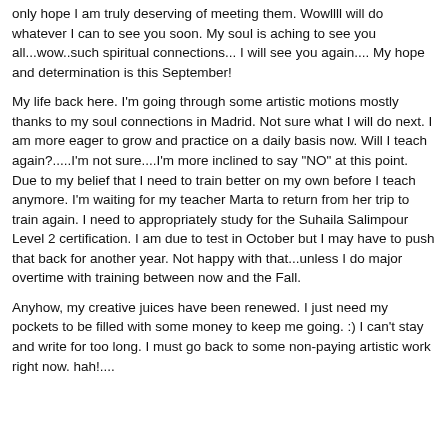only hope I am truly deserving of meeting them.  Wowllll will do whatever I can to see you soon. My soul is aching to see you all...wow..such spiritual connections...  I will see you again....  My hope and determination is this September!
My life back here.  I'm going through some artistic motions mostly thanks to my soul connections in Madrid.  Not sure what I will do next.  I am more eager to grow and practice on a daily basis now.  Will I teach again?.....I'm not sure....I'm more inclined to say "NO" at this point.  Due to my belief that I need to train better on my own before I teach anymore.  I'm waiting for my teacher Marta to return from her trip to train again.  I need to appropriately study for the Suhaila Salimpour Level 2 certification.  I am due to test in October but I may have to push that back for another year.  Not happy with that...unless I do major overtime with training between now and the Fall.
Anyhow, my creative juices have been renewed.  I just need my pockets to be filled with some money to keep me going.  :)  I can't stay and write for too long.  I must go back to some non-paying artistic work right now.  hah!....